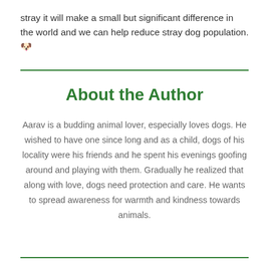stray it will make a small but significant difference in the world and we can help reduce stray dog population. 🐶
About the Author
Aarav is a budding animal lover, especially loves dogs. He wished to have one since long and as a child, dogs of his locality were his friends and he spent his evenings goofing around and playing with them. Gradually he realized that along with love, dogs need protection and care. He wants to spread awareness for warmth and kindness towards animals.